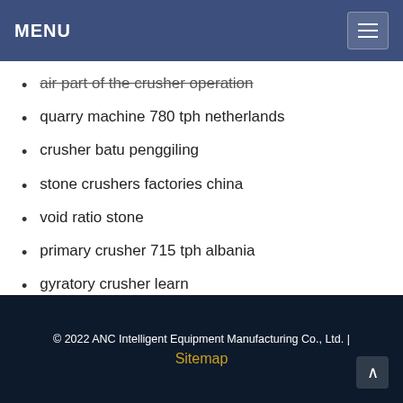MENU
air part of the crusher operation
quarry machine 780 tph netherlands
crusher batu penggiling
stone crushers factories china
void ratio stone
primary crusher 715 tph albania
gyratory crusher learn
© 2022 ANC Intelligent Equipment Manufacturing Co., Ltd. | Sitemap